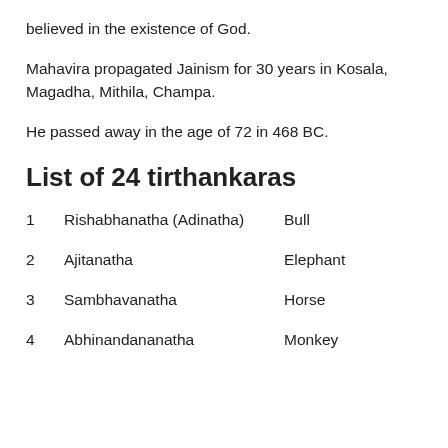believed in the existence of God.
Mahavira propagated Jainism for 30 years in Kosala, Magadha, Mithila, Champa.
He passed away in the age of 72 in 468 BC.
List of 24 tirthankaras
1    Rishabhanatha (Adinatha)    Bull
2    Ajitanatha    Elephant
3    Sambhavanatha    Horse
4    Abhinandananatha    Monkey